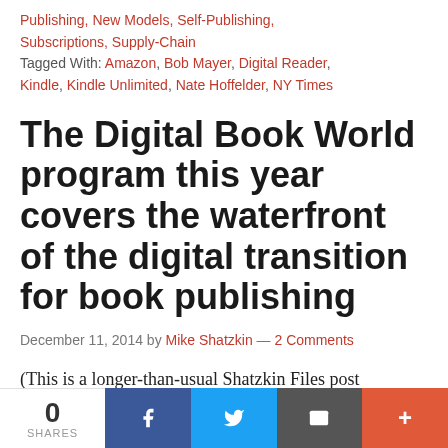Publishing, New Models, Self-Publishing, Subscriptions, Supply-Chain
Tagged With: Amazon, Bob Mayer, Digital Reader, Kindle, Kindle Unlimited, Nate Hoffelder, NY Times
The Digital Book World program this year covers the waterfront of the digital transition for book publishing
December 11, 2014 by Mike Shatzkin — 2 Comments
(This is a longer-than-usual Shatzkin Files post reviewing the topics and speakers for the